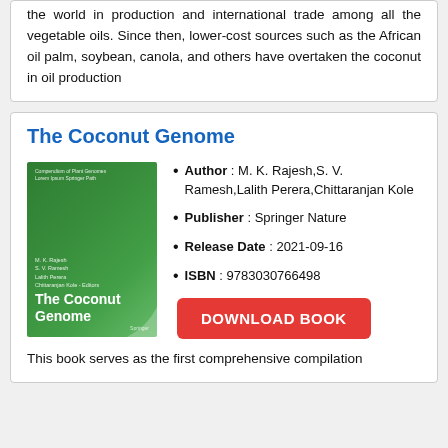the world in production and international trade among all the vegetable oils. Since then, lower-cost sources such as the African oil palm, soybean, canola, and others have overtaken the coconut in oil production
The Coconut Genome
[Figure (illustration): Book cover of 'The Coconut Genome' with green gradient background, authors listed at top, and title at bottom]
Author : M. K. Rajesh,S. V. Ramesh,Lalith Perera,Chittaranjan Kole
Publisher : Springer Nature
Release Date : 2021-09-16
ISBN : 9783030766498
DOWNLOAD BOOK
This book serves as the first comprehensive compilation